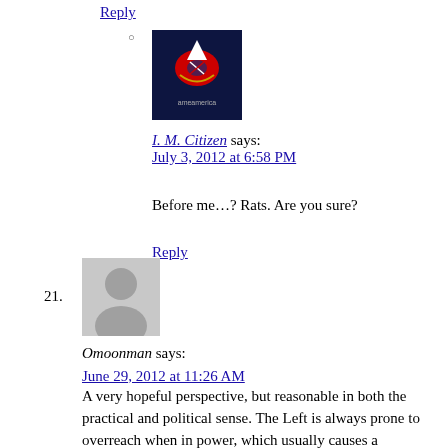Reply
[Figure (photo): User avatar image with eagle and American flag motif on dark background]
I. M. Citizen says:
July 3, 2012 at 6:58 PM
Before me…? Rats. Are you sure?
Reply
21.
[Figure (photo): Generic grey silhouette avatar placeholder]
Omoonman says:
June 29, 2012 at 11:26 AM
A very hopeful perspective, but reasonable in both the practical and political sense. The Left is always prone to overreach when in power, which usually causes a reactionary backlash. In this case, they've gone so far that when the rubber band snaps back, as it were, we may see profound historical possibilities arise to the nation's benefit. Another very hopeful perspective.

Also, you've provided an exceptionally fine piece of writing. Thanks.